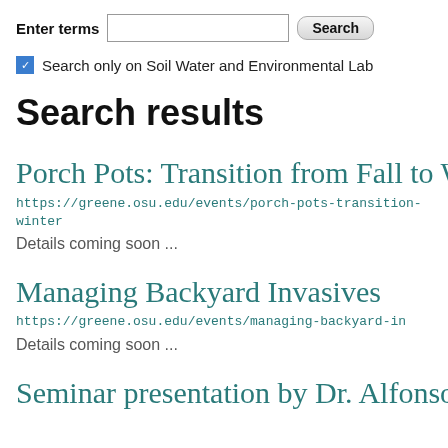Enter terms [search input] Search
Search only on Soil Water and Environmental Lab
Search results
Porch Pots: Transition from Fall to W
https://greene.osu.edu/events/porch-pots-transition-winter
Details coming soon ...
Managing Backyard Invasives
https://greene.osu.edu/events/managing-backyard-in
Details coming soon ...
Seminar presentation by Dr. Alfonso